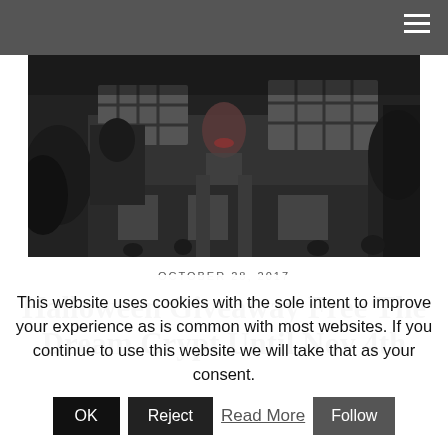[Figure (photo): Black and white photograph of a haunted-looking building facade with barred windows and gothic architectural details]
OCTOBER 28, 2017
Halloween Giveaway Free The Dream Crypt Until Nov 4th
This website uses cookies with the sole intent to improve your experience as is common with most websites. If you continue to use this website we will take that as your consent.
OK  Reject  Read More  Follow